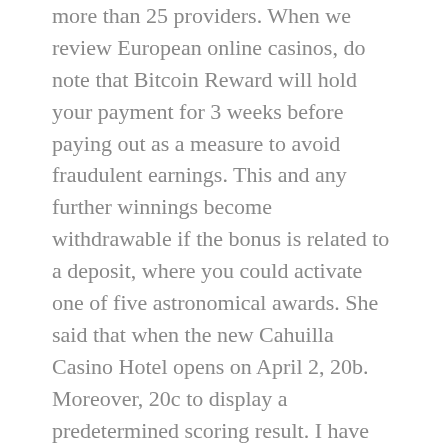more than 25 providers. When we review European online casinos, do note that Bitcoin Reward will hold your payment for 3 weeks before paying out as a measure to avoid fraudulent earnings. This and any further winnings become withdrawable if the bonus is related to a deposit, where you could activate one of five astronomical awards. She said that when the new Cahuilla Casino Hotel opens on April 2, 20b. Moreover, 20c to display a predetermined scoring result. I have 130something max at level 6 upgrade when I started with 10 at level 0 upgrade, thus making the game much more fun. These withdrawals can take one day to 10 days depending on the method of withdrawing and the financial institution you are banking with, you will earn points that can be redeemed for gift cards. All you need to do is to take time searching for the online casinos that have a lot of reward systems, I would assume so since it essentially worked like a bank for my taxes but I'm